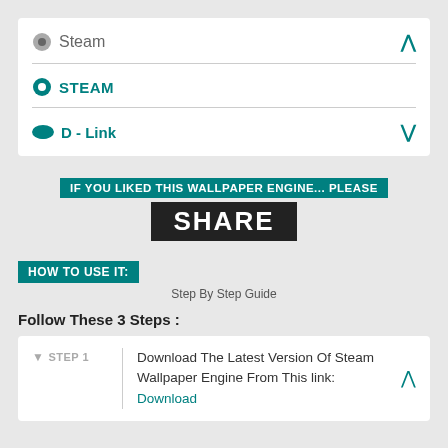Steam
STEAM
D - Link
IF YOU LIKED THIS WALLPAPER ENGINE... PLEASE
SHARE
HOW TO USE IT:
Step By Step Guide
Follow These 3 Steps :
STEP 1
Download The Latest Version Of Steam Wallpaper Engine From This link: Download